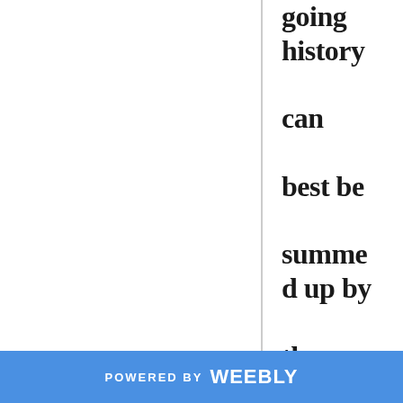going history can best be summed up by the phrase: “Well, that escalated quickly
POWERED BY weebly